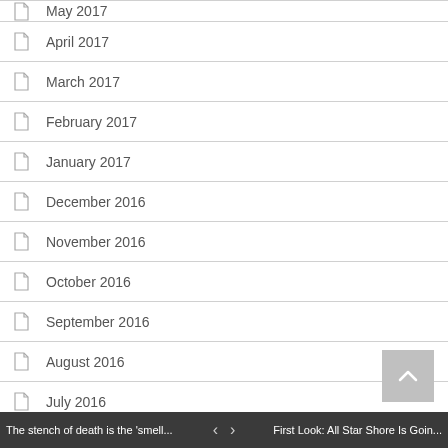May 2017
April 2017
March 2017
February 2017
January 2017
December 2016
November 2016
October 2016
September 2016
August 2016
July 2016
June 2016
May 2016
April 2016
The stench of death is the 'smell... < > First Look: All Star Shore Is Goin...